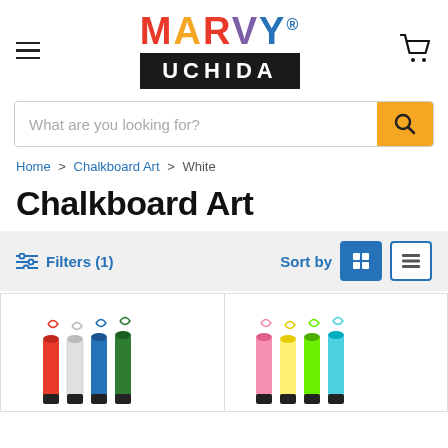[Figure (logo): Marvy Uchida logo with colorful MARVY text above black UCHIDA box]
[Figure (infographic): Search bar with placeholder text and orange search button]
Home > Chalkboard Art > White
Chalkboard Art
Filters (1)   Sort by
[Figure (photo): Set of chalkboard art markers in red, white, blue, and green colors]
[Figure (photo): Set of chalkboard art markers in pink, yellow, green, and light blue colors]